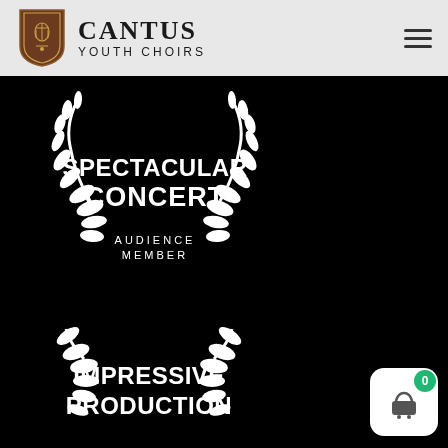[Figure (logo): Cantus Youth Choirs shield logo with lyre emblem, brown and gold crest on grey header background]
CANTUS
YOUTH CHOIRS
[Figure (illustration): White laurel wreath badge on black background with text SPECTACULAR CONCERT, AUDIENCE MEMBER]
[Figure (illustration): White laurel wreath badge on black background with text IMPRESSIVE PRODUCTION, partially visible at bottom]